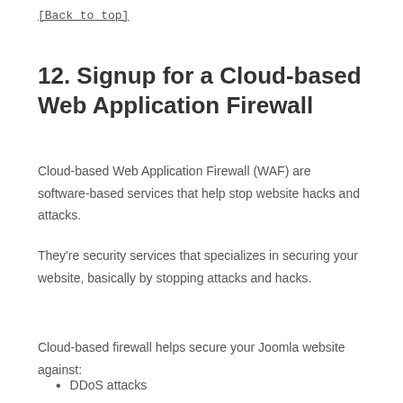[Back to top]
12. Signup for a Cloud-based Web Application Firewall
Cloud-based Web Application Firewall (WAF) are software-based services that help stop website hacks and attacks.
They're security services that specializes in securing your website, basically by stopping attacks and hacks.
Cloud-based firewall helps secure your Joomla website against:
DDoS attacks